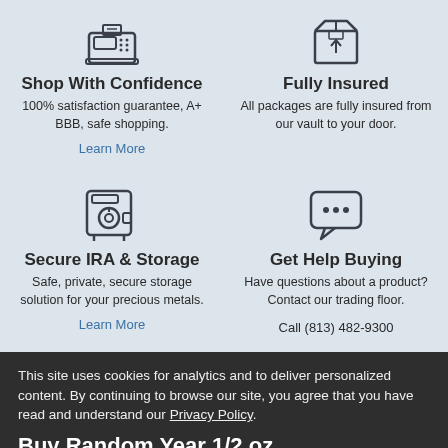[Figure (illustration): Icon of a cash register / POS terminal]
Shop With Confidence
100% satisfaction guarantee, A+ BBB, safe shopping.
Learn More
[Figure (illustration): Icon of a package / shipping box]
Fully Insured
All packages are fully insured from our vault to your door.
[Figure (illustration): Icon of a safe / vault]
Secure IRA & Storage
Safe, private, secure storage solution for your precious metals.
Learn More
[Figure (illustration): Icon of a speech/chat bubble with dots]
Get Help Buying
Have questions about a product? Contact our trading floor.
Call (813) 482-9300
This site uses cookies for analytics and to deliver personalized content. By continuing to browse our site, you agree that you have read and understand our Privacy Policy.
Buy Random Year 1/2 oz